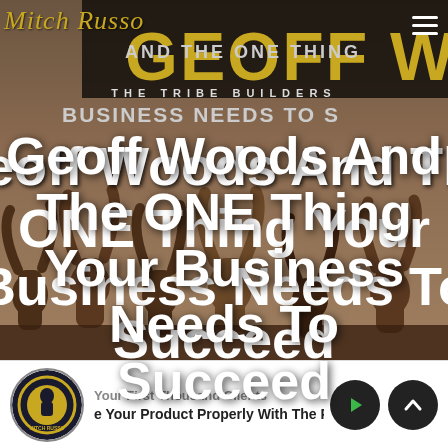[Figure (screenshot): Hero banner with dark overlay showing 'GEOFF WO...' in large gold letters, 'AND THE ONE THING' and 'BUSINESS NEEDS TO S...' in grey, silhouettes of crowd raising hands in background]
Mitch Russo
Geoff Woods And The ONE Thing Your Business Needs To Succeed
THE TRIBE BUILDERS
Your First Thousand Clients
e Your Product Properly With The Pri